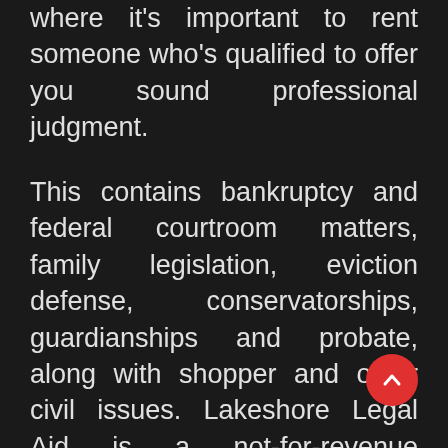where it's important to rent someone who's qualified to offer you sound professional judgment.
This contains bankruptcy and federal courtroom matters, family legislation, eviction defense, conservatorships, guardianships and probate, along with shopper and other civil issues. Lakeshore Legal Aid is a not-for-revenue regulation agency providing a spread of free civil authorized companies to people who find themselves low revenue, seniors, and survivors of home violence and sexual assault in our communities. Through